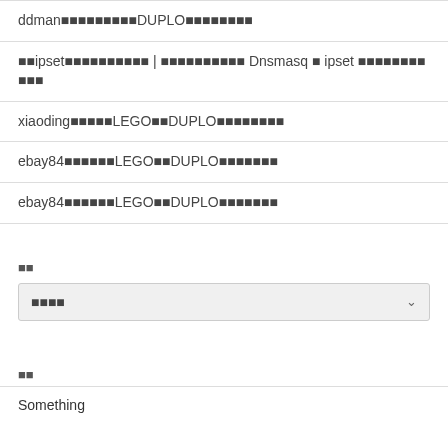ddman■■■■■■■■■DUPLO■■■■■■■■
■■ipset■■■■■■■■■■ | ■■■■■■■■■■ Dnsmasq ■ ipset ■■■■■■■■■■■
xiaoding■■■■■LEGO■■DUPLO■■■■■■■■
ebay84■■■■■■LEGO■■DUPLO■■■■■■■
ebay84■■■■■■LEGO■■DUPLO■■■■■■■
■■
■■■■
■■
Something